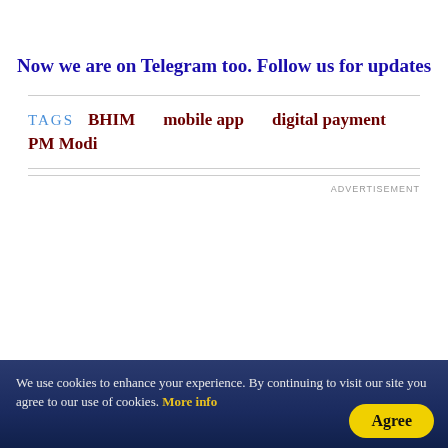Now we are on Telegram too. Follow us for updates
TAGS  BHIM  mobile app  digital payment  PM Modi
ADVERTISEMENT
We use cookies to enhance your experience. By continuing to visit our site you agree to our use of cookies. More info